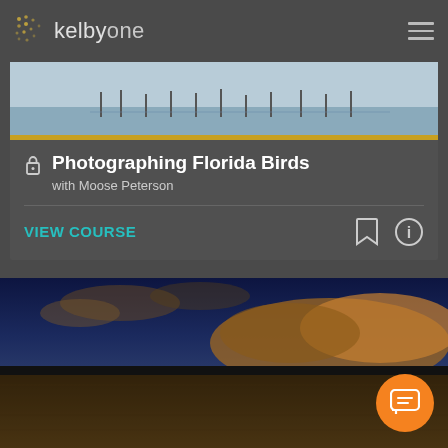kelbyone
[Figure (screenshot): KelbyOne mobile app screenshot showing a course listing for 'Photographing Florida Birds with Moose Peterson' with a thumbnail showing birds at water, a VIEW COURSE button, bookmark and info icons, and below it a dramatic landscape photo with stormy sky and grassland field.]
Photographing Florida Birds
with Moose Peterson
VIEW COURSE